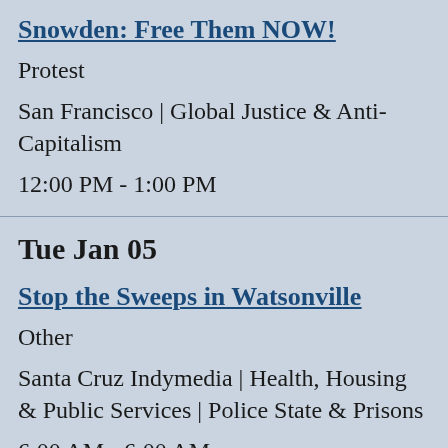Snowden: Free Them NOW!
Protest
San Francisco | Global Justice & Anti-Capitalism
12:00 PM - 1:00 PM
Tue Jan 05
Stop the Sweeps in Watsonville
Other
Santa Cruz Indymedia | Health, Housing & Public Services | Police State & Prisons
6:00 AM - 6:00 AM